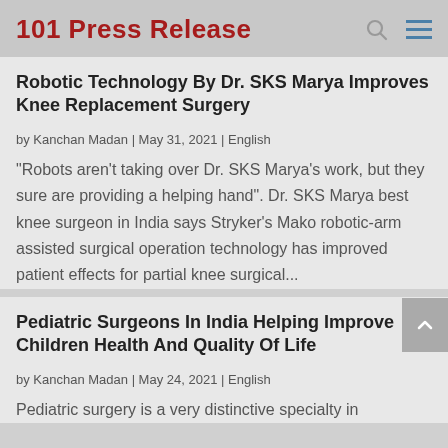101 Press Release
Robotic Technology By Dr. SKS Marya Improves Knee Replacement Surgery
by Kanchan Madan | May 31, 2021 | English
"Robots aren't taking over Dr. SKS Marya's work, but they sure are providing a helping hand". Dr. SKS Marya best knee surgeon in India says Stryker's Mako robotic-arm assisted surgical operation technology has improved patient effects for partial knee surgical...
Pediatric Surgeons In India Helping Improve Children Health And Quality Of Life
by Kanchan Madan | May 24, 2021 | English
Pediatric surgery is a very distinctive specialty in